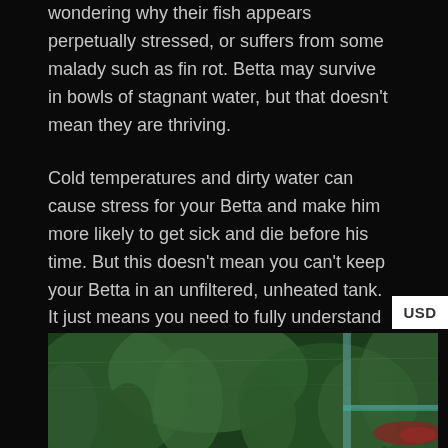wondering why their fish appears perpetually stressed, or suffers from some malady such as fin rot. Betta may survive in bowls of stagnant water, but that doesn't mean they are thriving.
Cold temperatures and dirty water can cause stress for your Betta and make him more likely to get sick and die before his time. But this doesn't mean you can't keep your Betta in an unfiltered, unheated tank. It just means you need to fully understand the requirements of your Betta fish before deciding if that is the correct decision. It also means you need to be ready to do the extra work required to keep an unheated, unfiltered setup in top condition for your fish.
[Figure (photo): Underwater photo showing green aquatic plants in the background with what appears to be a Betta fish and tank equipment visible]